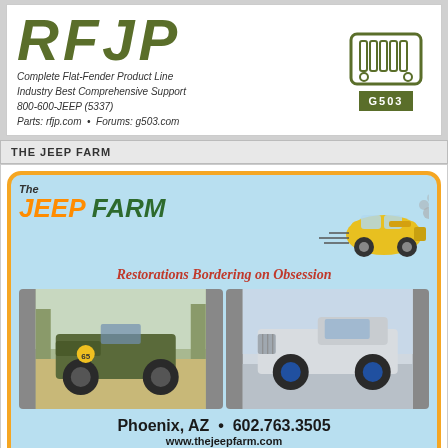[Figure (logo): RFJP logo with large olive-green italic letters, tagline text, and jeep grille graphic with G503 badge]
THE JEEP FARM
[Figure (illustration): The Jeep Farm advertisement with orange border on blue background, showing jeep illustrations, slogan 'Restorations Bordering on Obsession', photos of two vintage jeeps, Phoenix AZ contact info]
2020 HOLY TOLEDO CALENDAR FOR SALE